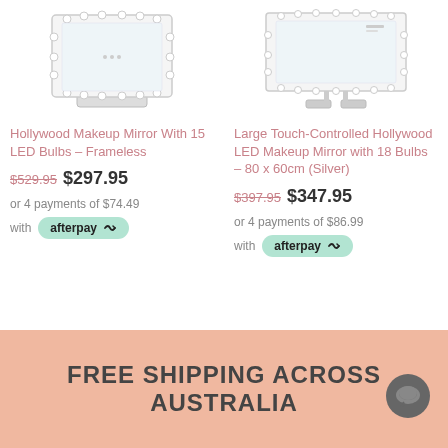[Figure (photo): Hollywood Makeup Mirror with frameless design and LED bulbs - product image]
Hollywood Makeup Mirror With 15 LED Bulbs – Frameless
$529.95 $297.95
or 4 payments of $74.49
with afterpay
[Figure (photo): Large Touch-Controlled Hollywood LED Makeup Mirror with 18 Bulbs – 80 x 60cm (Silver) - product image]
Large Touch-Controlled Hollywood LED Makeup Mirror with 18 Bulbs – 80 x 60cm (Silver)
$397.95 $347.95
or 4 payments of $86.99
with afterpay
FREE SHIPPING ACROSS AUSTRALIA